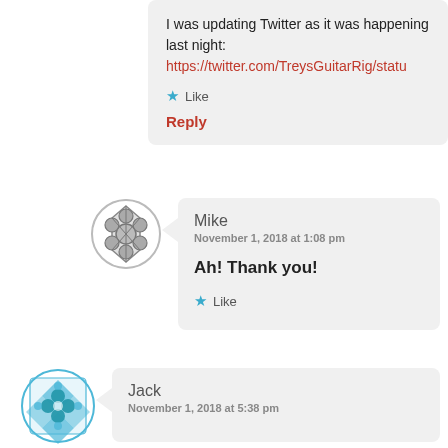I was updating Twitter as it was happening last night: https://twitter.com/TreysGuitarRig/statu
Like
Reply
[Figure (illustration): Grey decorative avatar icon with geometric pattern for user Mike]
Mike
November 1, 2018 at 1:08 pm
Ah! Thank you!
Like
[Figure (illustration): Blue decorative avatar icon with geometric pattern for user Jack]
Jack
November 1, 2018 at 5:38 pm